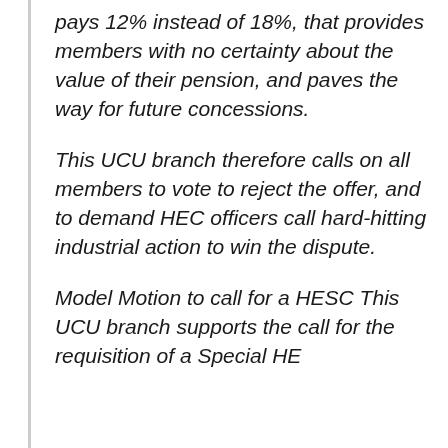pays 12% instead of 18%, that provides members with no certainty about the value of their pension, and paves the way for future concessions.
This UCU branch therefore calls on all members to vote to reject the offer, and to demand HEC officers call hard-hitting industrial action to win the dispute.
Model Motion to call for a HESC This UCU branch supports the call for the requisition of a Special HE